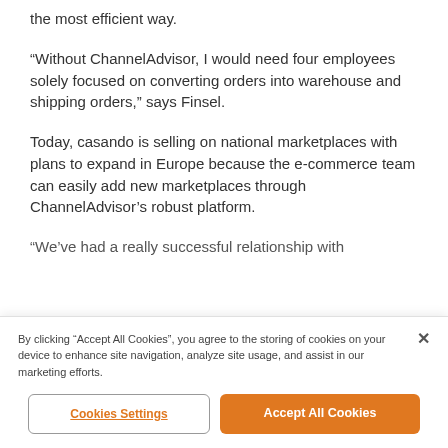the most efficient way.
“Without ChannelAdvisor, I would need four employees solely focused on converting orders into warehouse and shipping orders,” says Finsel.
Today, casando is selling on national marketplaces with plans to expand in Europe because the e-commerce team can easily add new marketplaces through ChannelAdvisor’s robust platform.
“We’ve had a really successful relationship with
By clicking “Accept All Cookies”, you agree to the storing of cookies on your device to enhance site navigation, analyze site usage, and assist in our marketing efforts.
Cookies Settings
Accept All Cookies